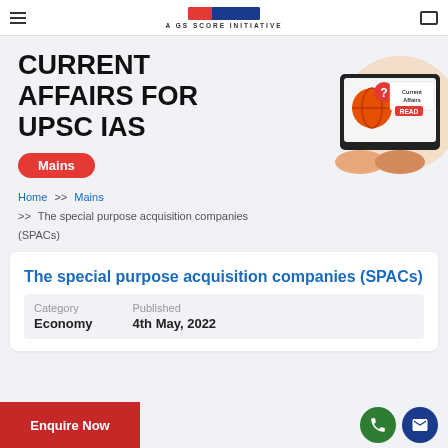A GS SCORE INITIATIVE
CURRENT AFFAIRS FOR UPSC IAS
Mains
Home >> Mains >> The special purpose acquisition companies (SPACs)
[Figure (illustration): Illustration of a tablet showing Current Affairs with a globe graphic and READ button]
The special purpose acquisition companies (SPACs)
| Category | Published |
| --- | --- |
| Economy | 4th May, 2022 |
Enquire Now